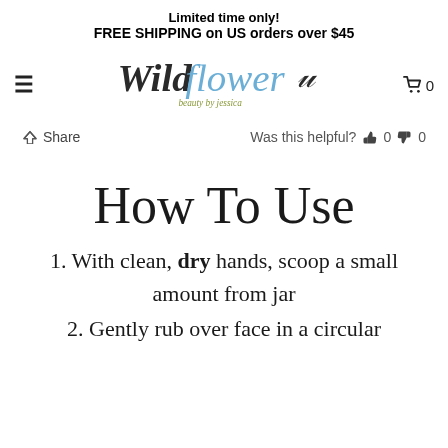Limited time only!
FREE SHIPPING on US orders over $45
[Figure (logo): Wildflower beauty by jessica cursive logo in black and blue/olive colors]
Share   Was this helpful?  👍 0  👎 0
How To Use
1. With clean, dry hands, scoop a small amount from jar
2. Gently rub over face in a circular